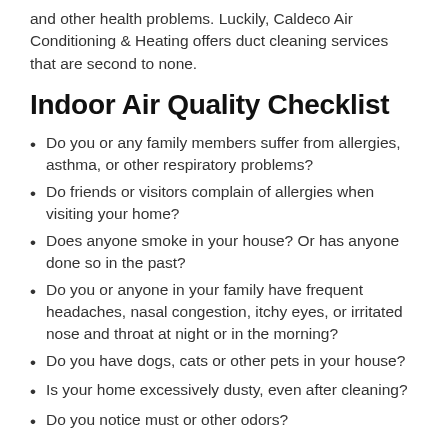and other health problems. Luckily, Caldeco Air Conditioning & Heating offers duct cleaning services that are second to none.
Indoor Air Quality Checklist
Do you or any family members suffer from allergies, asthma, or other respiratory problems?
Do friends or visitors complain of allergies when visiting your home?
Does anyone smoke in your house? Or has anyone done so in the past?
Do you or anyone in your family have frequent headaches, nasal congestion, itchy eyes, or irritated nose and throat at night or in the morning?
Do you have dogs, cats or other pets in your house?
Is your home excessively dusty, even after cleaning?
Do you notice must or other odors?